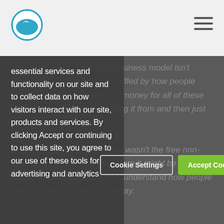[Figure (logo): Circular logo with mountain/glacier icon in teal/blue on white background]
essential services and functionality on our site and to collect data on how visitors interact with our site, products and services. By clicking Accept or continuing to use this site, you agree to our use of these tools for advertising and analytics
quality software. Their bad business model isn't ManageWP's problem! I'm baffled by how people would expect you to shell out money for all of these [called from Gus]  you're getting it from and then just give the feature away? at feature, great price. If there wasn't the free non-automated version of this feature it might be a little harder to stomach, but I don't understand how people can think this is unfair in anyway.
Cookie Settings
Accept Cookies